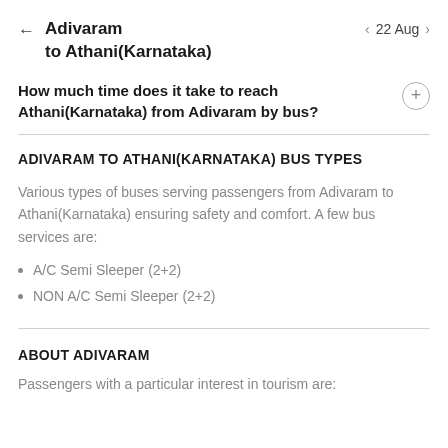Adivaram to Athani(Karnataka)   22 Aug
How much time does it take to reach Athani(Karnataka) from Adivaram by bus?
ADIVARAM TO ATHANI(KARNATAKA) BUS TYPES
Various types of buses serving passengers from Adivaram to Athani(Karnataka) ensuring safety and comfort. A few bus services are:
A/C Semi Sleeper (2+2)
NON A/C Semi Sleeper (2+2)
ABOUT ADIVARAM
Passengers with a particular interest in tourism are: